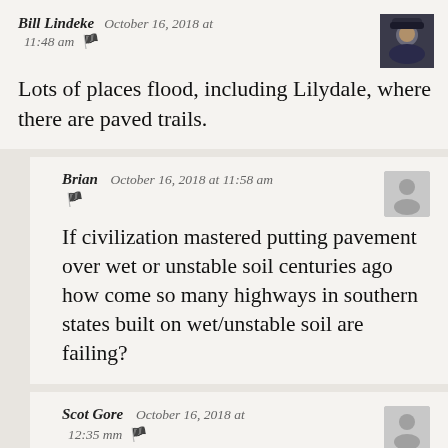Bill Lindeke   October 16, 2018 at 11:48 am
Lots of places flood, including Lilydale, where there are paved trails.
Brian   October 16, 2018 at 11:58 am
If civilization mastered putting pavement over wet or unstable soil centuries ago how come so many highways in southern states built on wet/unstable soil are failing?
Scot Gore   October 16, 2018 at 12:35 mm